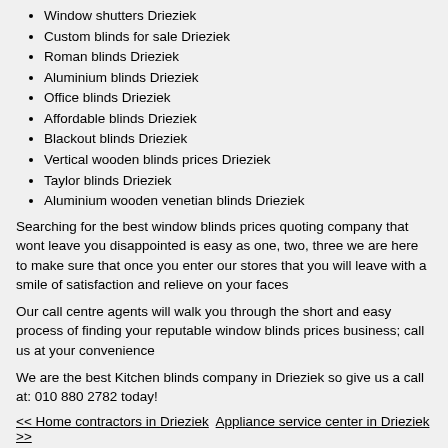Window shutters Drieziek
Custom blinds for sale Drieziek
Roman blinds Drieziek
Aluminium blinds Drieziek
Office blinds Drieziek
Affordable blinds Drieziek
Blackout blinds Drieziek
Vertical wooden blinds prices Drieziek
Taylor blinds Drieziek
Aluminium wooden venetian blinds Drieziek
Searching for the best window blinds prices quoting company that wont leave you disappointed is easy as one, two, three we are here to make sure that once you enter our stores that you will leave with a smile of satisfaction and relieve on your faces
Our call centre agents will walk you through the short and easy process of finding your reputable window blinds prices business; call us at your convenience
We are the best Kitchen blinds company in Drieziek so give us a call at: 010 880 2782 today!
<< Home contractors in Drieziek   Appliance service center in Drieziek >>
-> Kitchen blinds in Vereeniging
-> Kitchen blinds in Wolmaranspoort